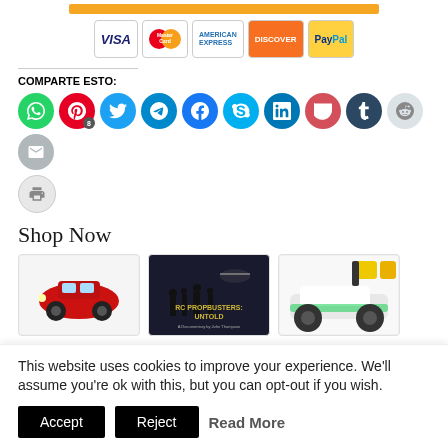[Figure (other): Payment method icons: Visa, MasterCard, American Express, Discover, PayPal in bordered boxes]
COMPARTE ESTO:
[Figure (other): Social media sharing icons: WhatsApp, Pinterest (8), Twitter, Telegram, Facebook, Skype, LinkedIn, Pocket, Tumblr, Reddit, Email, Print]
Shop Now
[Figure (other): Three product images: RC car (red), RC Propbusters Untold book/DVD, white RC buggy with yellow batteries]
This website uses cookies to improve your experience. We'll assume you're ok with this, but you can opt-out if you wish.
Accept
Reject
Read More